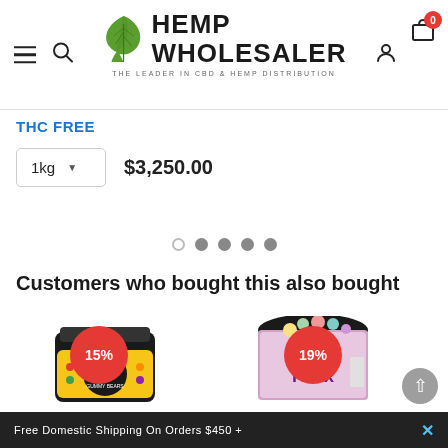[Figure (screenshot): Hemp Wholesaler website header with logo, hamburger menu, search icon, user icon, and cart icon showing 0 items]
THC FREE
1kg   $3,250.00
[Figure (infographic): Carousel navigation dots: 5 dots, first is empty/outlined, rest are filled grey]
Customers who bought this also bought
[Figure (photo): Product card with 15% discount badge and JustCBD gummy bears jar]
[Figure (photo): Product card with 19% discount badge and Relax gummy bears tin]
Free Domestic Shipping On Orders $450 +